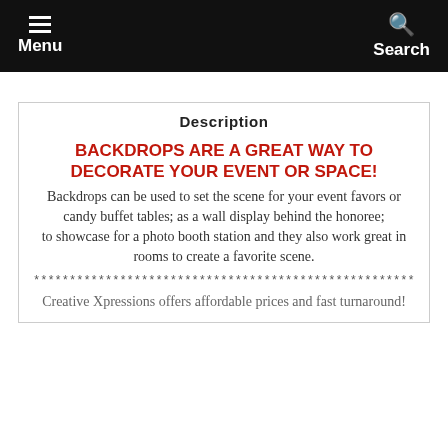Menu  Search
Description
BACKDROPS ARE A GREAT WAY TO DECORATE YOUR EVENT OR SPACE! Backdrops can be used to set the scene for your event favors or candy buffet tables; as a wall display behind the honoree; to showcase for a photo booth station and they also work great in rooms to create a favorite scene.
************************************************************
Creative Xpressions offers affordable prices and fast turnaround!